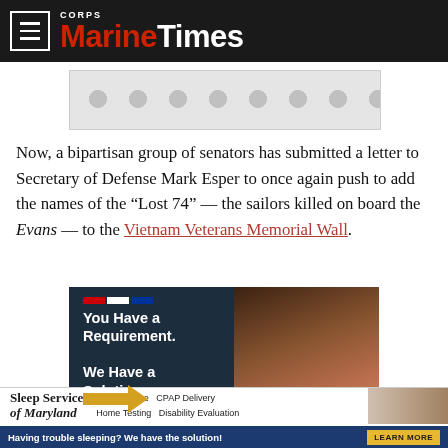Marine Corps Times
[Figure (other): Advertisement placeholder with dotted/circular pattern background]
Now, a bipartisan group of senators has submitted a letter to Secretary of Defense Mark Esper to once again push to add the names of the “Lost 74” — the sailors killed on board the Evans — to the Vietnam Veterans Memorial Wall.
[Figure (other): Advertisement: 'You Have a Requirement. We Have a Solution.' with person in red jacket on dark blue background with American flag stripe accent]
[Figure (other): Advertisement: Sleep Services of Maryland - Telemedicine, Home Testing, CPAP Delivery, Disability Evaluation. 'Having trouble sleeping? We have the solution!' Learn More button.]